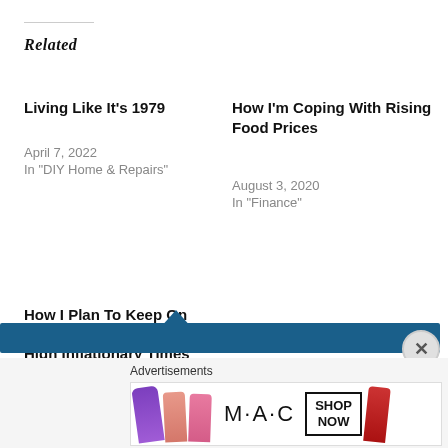Related
Living Like It's 1979
April 7, 2022
In "DIY Home & Repairs"
How I'm Coping With Rising Food Prices
August 3, 2020
In "Finance"
How I Plan To Keep On Eating Beef During These High Inflationary Times Without Breaking My Budget.
January 14, 2022
In "Finance"
Advertisements